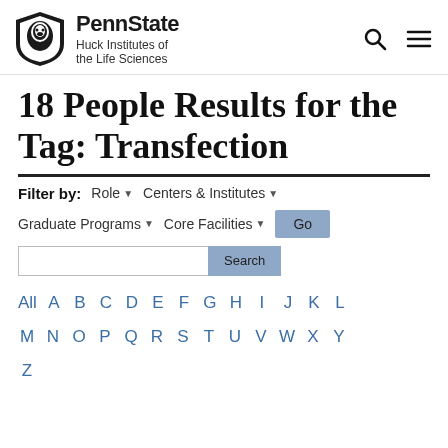PennState Huck Institutes of the Life Sciences
18 People Results for the Tag: Transfection
Filter by: Role ▾  Centers & Institutes ▾
Graduate Programs ▾  Core Facilities ▾  Go
Search
All A B C D E F G H I J K L M N O P Q R S T U V W X Y Z